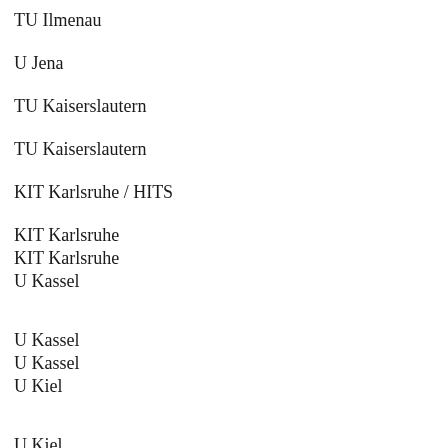TU Ilmenau
U Jena
TU Kaiserslautern
TU Kaiserslautern
KIT Karlsruhe / HITS
KIT Karlsruhe
KIT Karlsruhe
U Kassel
U Kassel
U Kassel
U Kiel
U Kiel